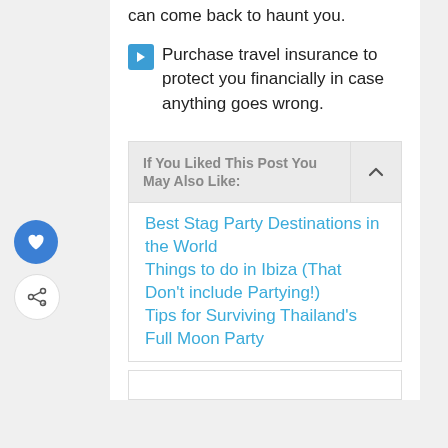can come back to haunt you.
Purchase travel insurance to protect you financially in case anything goes wrong.
If You Liked This Post You May Also Like:
Best Stag Party Destinations in the World
Things to do in Ibiza (That Don't include Partying!)
Tips for Surviving Thailand's Full Moon Party